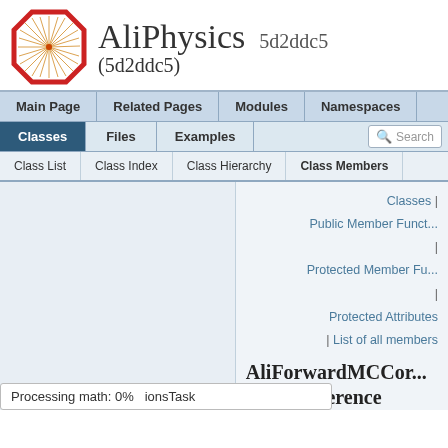[Figure (logo): AliPhysics logo: an octagonal shape with red border and radiating lines inside, resembling a starburst]
AliPhysics 5d2ddc5 (5d2ddc5)
Main Page | Related Pages | Modules | Namespaces
Classes | Files | Examples | Search
Class List | Class Index | Class Hierarchy | Class Members
Classes | Public Member Funct... | | Protected Member Fu... | | Protected Attributes | List of all members
AliForwardMCCor... Class Reference
Tasks |
Processing math: 0%   ionsTask